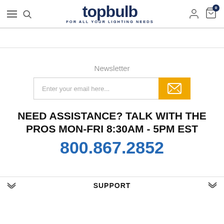topbulb FOR ALL YOUR LIGHTING NEEDS
Newsletter
[Figure (screenshot): Newsletter email input field with orange submit button containing mail icon]
NEED ASSISTANCE? TALK WITH THE PROS MON-FRI 8:30AM - 5PM EST
800.867.2852
SUPPORT